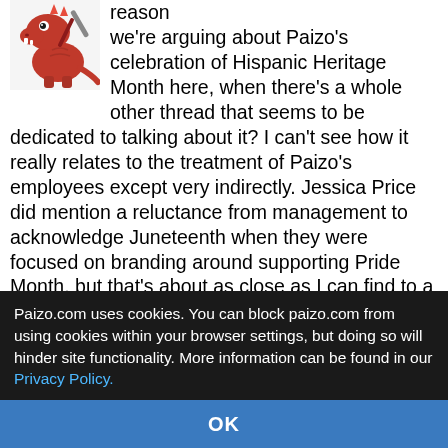reason we're arguing about Paizo's celebration of Hispanic Heritage Month here, when there's a whole other thread that seems to be dedicated to talking about it? I can't see how it really relates to the treatment of Paizo's employees except very indirectly. Jessica Price did mention a reluctance from management to acknowledge Juneteenth when they were focused on branding around supporting Pride Month, but that's about as close as I can find to a direct connection.

I just don't see the point in the discussion. "Paizo posted a blog post late", "corporate diversity is often tacky", "big minorities with deep histories of hard-fought activism have an easier time being noticed than small minorities or minorities that don't have...
Paizo.com uses cookies. You can block paizo.com from using cookies within your browser settings, but doing so will hinder site functionality. More information can be found in our Privacy Policy.
OK